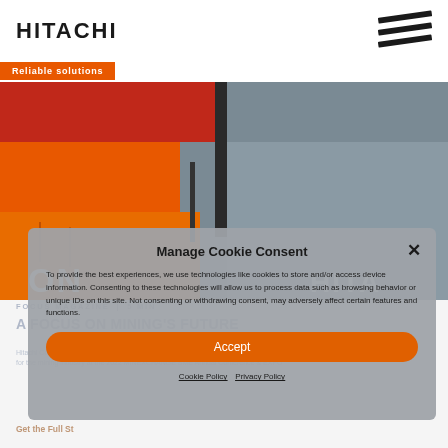HITACHI
Reliable solutions
[Figure (photo): Close-up photo of orange and red industrial machinery panels with a gray/blue surface in background, partial Hitachi branding visible]
FOCUS MAGAZINE | 5 MIN
A FOCUS ON MINING'S FUTURE
Hitachi Construction Machinery Americas Inc. took center stage when it shared its plans and vision for the mining industry at the 2022 MINEXCHANGE SME Annual Conference & EXPO
Get the Full St
Manage Cookie Consent

To provide the best experiences, we use technologies like cookies to store and/or access device information. Consenting to these technologies will allow us to process data such as browsing behavior or unique IDs on this site. Not consenting or withdrawing consent, may adversely affect certain features and functions.

Accept

Cookie Policy   Privacy Policy